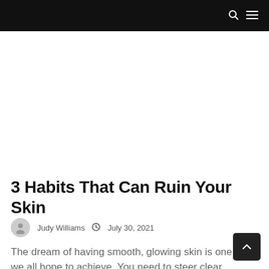🔍 ☰
3 Habits That Can Ruin Your Skin
Judy Williams   July 30, 2021
The dream of having smooth, glowing skin is one we all hope to achieve. You need to steer clear…